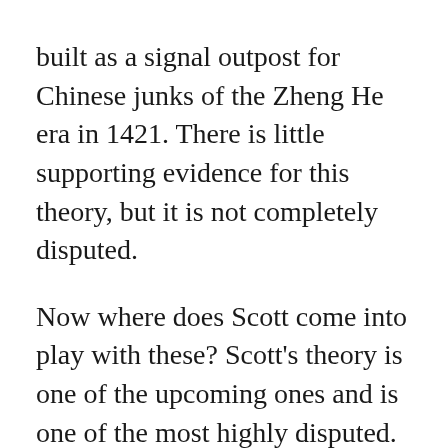built as a signal outpost for Chinese junks of the Zheng He era in 1421. There is little supporting evidence for this theory, but it is not completely disputed.
Now where does Scott come into play with these? Scott's theory is one of the upcoming ones and is one of the most highly disputed. Scott along with writer Andrew Sinclair have put forth the hypothesis that the Newport Tower was built by medieval Scottish Templars led by Scottish earl Henry Sinclair as part of an alleged voyage to New England approximately one hundred years prior to Columbus setting sail. This theory